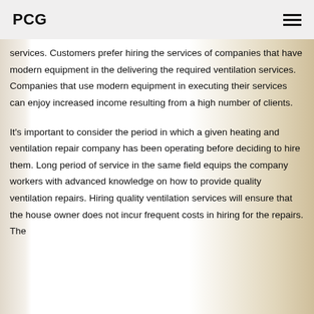PCG
services. Customers prefer hiring the services of companies that have modern equipment in the delivering the required ventilation services. Companies that use modern equipment in executing their services can enjoy increased income resulting from a high number of clients.
It's important to consider the period in which a given heating and ventilation repair company has been operating before deciding to hire them. Long period of service in the same field equips the company workers with advanced knowledge on how to provide quality ventilation repairs. Hiring quality ventilation services will ensure that the house owner does not incur frequent costs in hiring for the repairs. The